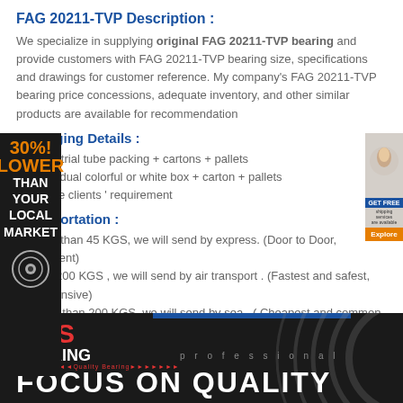FAG 20211-TVP Description :
We specialize in supplying original FAG 20211-TVP bearing and provide customers with FAG 20211-TVP bearing size, specifications and drawings for customer reference. My company's FAG 20211-TVP bearing price concessions, adequate inventory, and other similar products are available for recommendation
Packaging Details :
1 . Industrial tube packing + cartons + pallets
2 . Individual colorful or white box + carton + pallets
3 . As the clients ' requirement
Transportation :
1 . Less than 45 KGS, we will send by express. (Door to Door, Convenient)
2 . 45 - 200 KGS , we will send by air transport . (Fastest and safest, but expensive)
3 . More than 200 KGS, we will send by sea . ( Cheapest and common use )
[Figure (logo): GBS Bearing logo with red GBS text, white BEARING text, and slogan 'Focus on Quality' on dark background with decorative arcs]